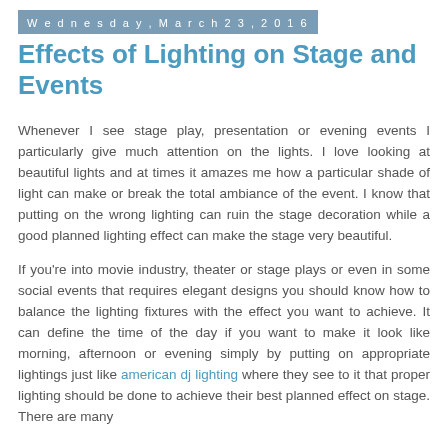Wednesday, March 23, 2016
Effects of Lighting on Stage and Events
Whenever I see stage play, presentation or evening events I particularly give much attention on the lights. I love looking at beautiful lights and at times it amazes me how a particular shade of light can make or break the total ambiance of the event. I know that putting on the wrong lighting can ruin the stage decoration while a good planned lighting effect can make the stage very beautiful.
If you're into movie industry, theater or stage plays or even in some social events that requires elegant designs you should know how to balance the lighting fixtures with the effect you want to achieve. It can define the time of the day if you want to make it look like morning, afternoon or evening simply by putting on appropriate lightings just like american dj lighting where they see to it that proper lighting should be done to achieve their best planned effect on stage. There are many